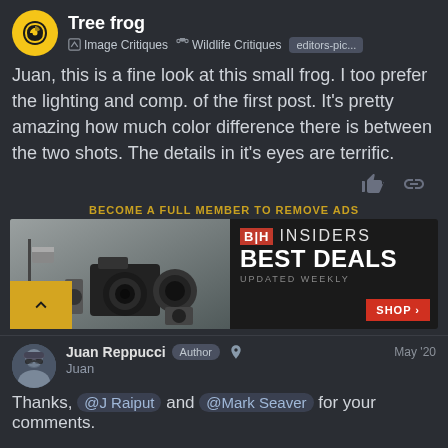Tree frog | Image Critiques | Wildlife Critiques | editors-pic...
Juan, this is a fine look at this small frog. I too prefer the lighting and comp. of the first post. It's pretty amazing how much color difference there is between the two shots. The details in it's eyes are terrific.
BECOME A FULL MEMBER TO REMOVE ADS
[Figure (screenshot): B&H Photo advertisement banner showing camera equipment on left and 'INSIDERS BEST DEALS UPDATED WEEKLY SHOP' text on dark background on right]
Juan Reppucci Author  May '20
Juan
Thanks, @J Raiput and @Mark Seaver for your comments.